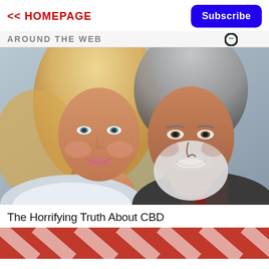<< HOMEPAGE
Subscribe
AROUND THE WEB
[Figure (photo): A smiling blonde woman and an older man with white beard and gray hair posing together at an event.]
The Horrifying Truth About CBD
[Figure (photo): Partial bottom image showing red and white pattern, partially cropped.]